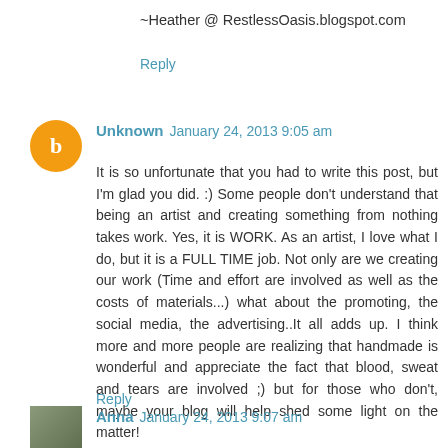~Heather @ RestlessOasis.blogspot.com
Reply
Unknown  January 24, 2013 9:05 am
It is so unfortunate that you had to write this post, but I'm glad you did. :) Some people don't understand that being an artist and creating something from nothing takes work. Yes, it is WORK. As an artist, I love what I do, but it is a FULL TIME job. Not only are we creating our work (Time and effort are involved as well as the costs of materials...) what about the promoting, the social media, the advertising..It all adds up. I think more and more people are realizing that handmade is wonderful and appreciate the fact that blood, sweat and tears are involved ;) but for those who don't, maybe your blog will help shed some light on the matter!
Reply
Anna  January 24, 2013 9:07 am